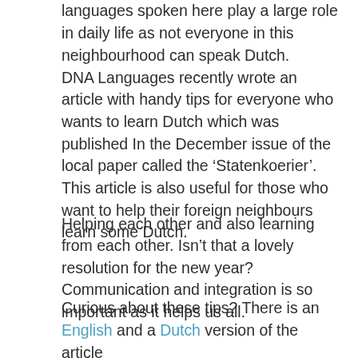languages spoken here play a large role in daily life as not everyone in this neighbourhood can speak Dutch.
DNA Languages recently wrote an article with handy tips for everyone who wants to learn Dutch which was published In the December issue of the local paper called the 'Statenkoerier'. This article is also useful for those who want to help their foreign neighbours learn some Dutch.
Helping each other and also learning from each other. Isn't that a lovely resolution for the new year? Communication and integration is so important as it helps us all.
Curious about these tips? There is an English and a Dutch version of the article